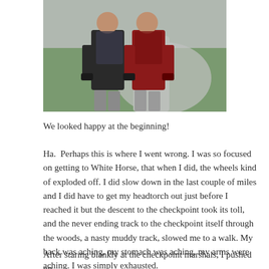[Figure (photo): Two runners wearing rain jackets and hydration vests running together on a grey path, with green grass and trees in the background. One wears black, the other wears red.]
We looked happy at the beginning!
Ha.  Perhaps this is where I went wrong. I was so focused on getting to White Horse, that when I did, the wheels kind of exploded off. I did slow down in the last couple of miles and I did have to get my headtorch out just before I reached it but the descent to the checkpoint took its toll, and the never ending track to the checkpoint itself through the woods, a nasty muddy track, slowed me to a walk. My back was aching, my stomach was aching, my arms were aching. I was simply exhausted.
After staring blankly at the checkpoint marshals, I pushed on